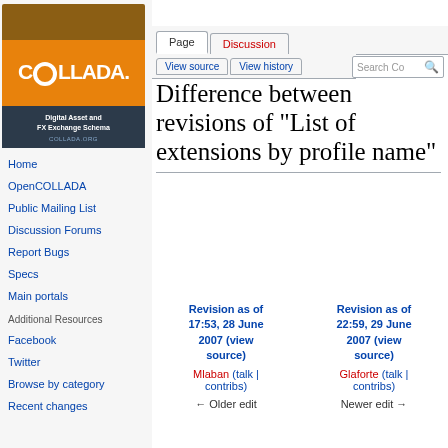[Figure (logo): COLLADA logo with orange and dark blue sections, text 'Digital Asset and FX Exchange Schema', 'COLLADA.ORG']
Home
OpenCOLLADA
Public Mailing List
Discussion Forums
Report Bugs
Specs
Main portals
Additional Resources
Facebook
Twitter
Browse by category
Recent changes
Create account  Log in
Difference between revisions of "List of extensions by profile name"
| Revision as of 17:53, 28 June 2007 (view source) | Revision as of 22:59, 29 June 2007 (view source) |
| --- | --- |
| Mlaban (talk | contribs) | Glaforte (talk | contribs) |
| ← Older edit | Newer edit → |